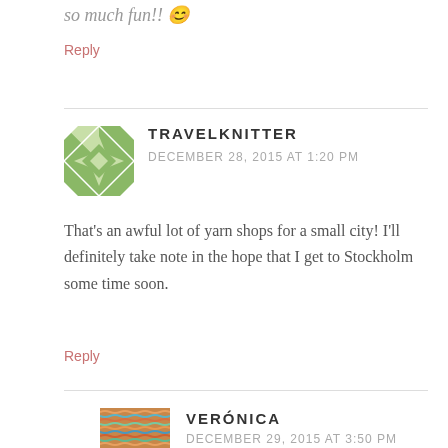so much fun!! 😊
Reply
TRAVELKNITTER
DECEMBER 28, 2015 AT 1:20 PM
That's an awful lot of yarn shops for a small city! I'll definitely take note in the hope that I get to Stockholm some time soon.
Reply
VERÓNICA
DECEMBER 29, 2015 AT 3:50 PM